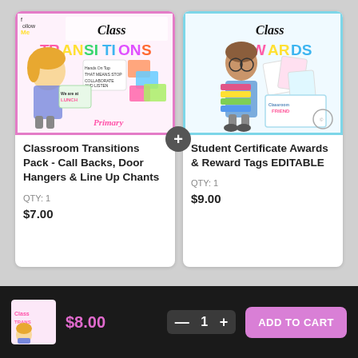[Figure (illustration): Classroom Transitions Pack product cover image showing a cartoon child with colorful transition activity cards and the text 'Class Transitions']
Classroom Transitions Pack - Call Backs, Door Hangers & Line Up Chants
QTY: 1
$7.00
[Figure (illustration): Student Certificate Awards & Reward Tags product cover image showing a cartoon child holding books with colorful award certificates]
Student Certificate Awards & Reward Tags EDITABLE
QTY: 1
$9.00
[Figure (thumbnail): Small thumbnail of a classroom resources product]
$8.00
— 1 +
ADD TO CART